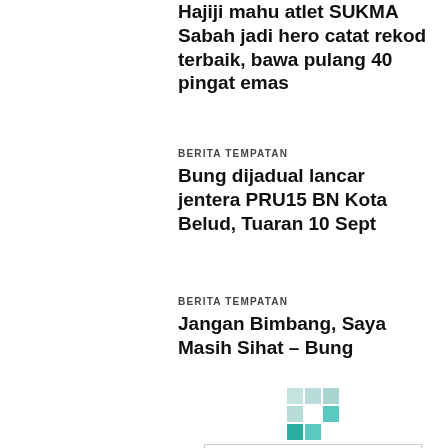Hajiji mahu atlet SUKMA Sabah jadi hero catat rekod terbaik, bawa pulang 40 pingat emas
BERITA TEMPATAN
Bung dijadual lancar jentera PRU15 BN Kota Belud, Tuaran 10 Sept
BERITA TEMPATAN
Jangan Bimbang, Saya Masih Sihat – Bung
[Figure (logo): Load more button with teal grid/mosaic icon above it]